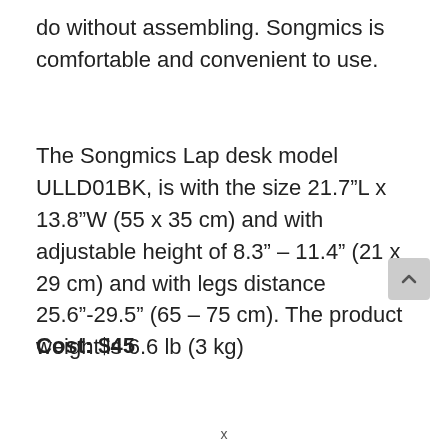do without assembling. Songmics is comfortable and convenient to use.
The Songmics Lap desk model ULLD01BK, is with the size 21.7"L x 13.8"W (55 x 35 cm) and with adjustable height of 8.3" – 11.4" (21 x 29 cm) and with legs distance 25.6"-29.5" (65 – 75 cm). The product weight is 6.6 lb (3 kg)
Cost: $45